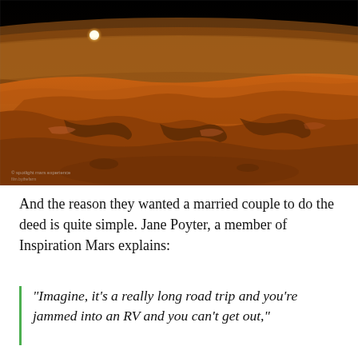[Figure (photo): Aerial/orbital view of Mars surface showing canyon terrain with orange-red landscape, thin atmospheric haze on the horizon, and a bright sun visible in the black sky above. Small watermark text visible in lower left of image.]
And the reason they wanted a married couple to do the deed is quite simple. Jane Poyter, a member of Inspiration Mars explains:
“Imagine, it’s a really long road trip and you’re jammed into an RV and you can’t get out,”